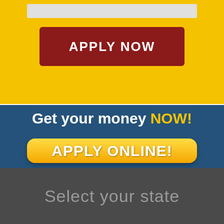[Figure (screenshot): Yellow background section with a gray input bar and a dark red 'APPLY NOW' button]
Get your money NOW!
APPLY ONLINE!
Select your state